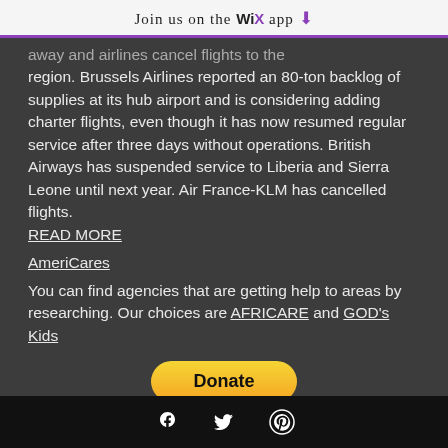Join us on the WiX app ↓
away and airlines cancel flights to the region. Brussels Airlines reported an 80-ton backlog of supplies at its hub airport and is considering adding charter flights, even though it has now resumed regular service after three days without operations. British Airways has suspended service to Liberia and Sierra Leone until next year. Air France-KLM has cancelled flights.
READ MORE
AmeriCares
You can find agencies that are getting help to areas by researching. Our choices are AFRICARE and GOD's Kids
[Figure (other): PayPal Donate button with payment method icons (Visa, Mastercard, Maestro, American Express, Discover, and one more card)]
[Figure (other): Footer bar with Facebook, Twitter, and Pinterest social media icons in white on black background]